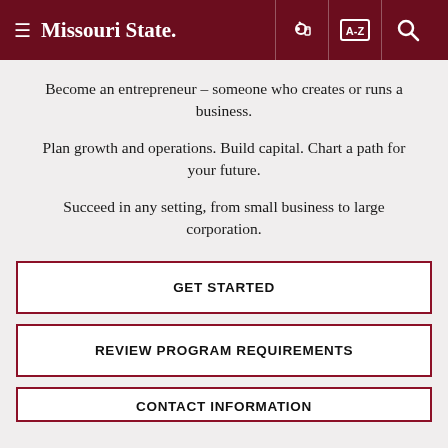Missouri State
Become an entrepreneur – someone who creates or runs a business.
Plan growth and operations. Build capital. Chart a path for your future.
Succeed in any setting, from small business to large corporation.
GET STARTED
REVIEW PROGRAM REQUIREMENTS
CONTACT INFORMATION